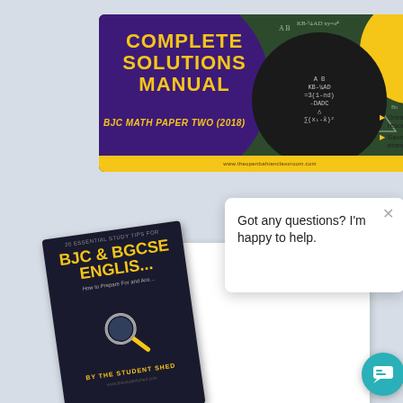[Figure (illustration): Complete Solutions Manual book cover for BJC Math Paper Two (2018) with purple circle, chalkboard background with math formulas, yellow circle accent, and bullet points: Great Study resource, Saves time and energy. Website: www.theopenbahianclassroom.com]
[Figure (screenshot): Screenshot showing two educational books: '20 Essential Study Tips for BJC & BGCSE English' dark book cover by The Student Shed (with magnifying glass icon), overlapping an open white document/book page showing sections. A chat popup overlay reads 'Got any questions? I'm happy to help.' with a teal chat button in the corner.]